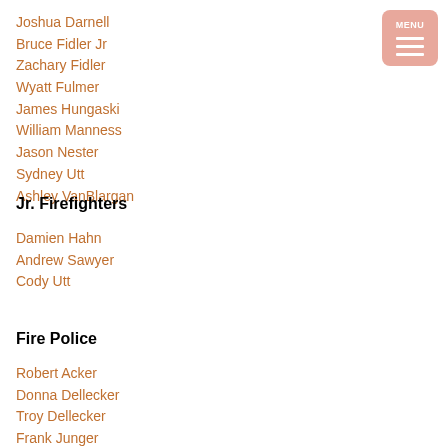Joshua Darnell
Bruce Fidler Jr
Zachary Fidler
Wyatt Fulmer
James Hungaski
William Manness
Jason Nester
Sydney Utt
Ashley VanBlargan
Jr. Firefighters
Damien Hahn
Andrew Sawyer
Cody Utt
Fire Police
Robert Acker
Donna Dellecker
Troy Dellecker
Frank Junger
Darryl Schafer